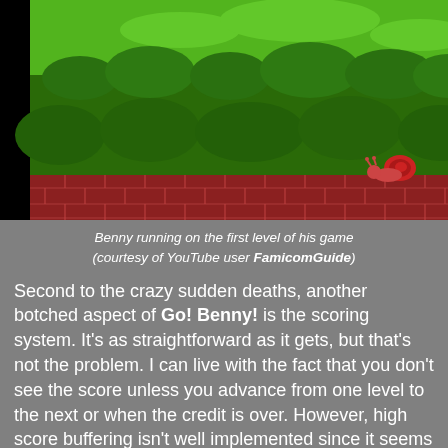[Figure (screenshot): Screenshot of Go! Benny! NES game showing Benny the snail running on the first level. Green bushes and sky background, brick platform wall at bottom, snail character visible on right side.]
Benny running on the first level of his game (courtesy of YouTube user FamicomGuide)
Second to the crazy sudden deaths, another botched aspect of Go! Benny! is the scoring system. It's as straightforward as it gets, but that's not the problem. I can live with the fact that you don't see the score unless you advance from one level to the next or when the credit is over. However, high score buffering isn't well implemented since it seems that completion/1CC scores aren't computed correctly. During the couple of failed and full runs I did I noticed that one of my 1CC scores was much lower than the score I achieved right afterwards even though I bit the dust halfway into the final stage. Apparently all the points you get in the final level aren't added to the result of the clear.